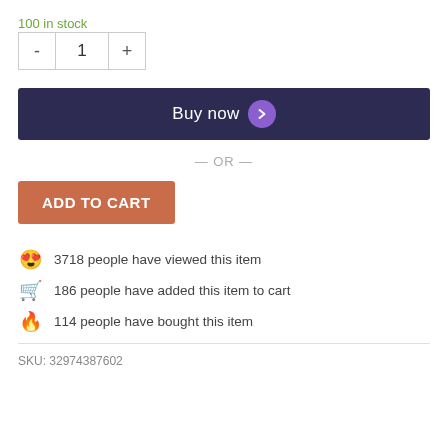100 in stock
- 1 +
Buy now
— OR —
ADD TO CART
3718 people have viewed this item
186 people have added this item to cart
114 people have bought this item
SKU: 32974387602